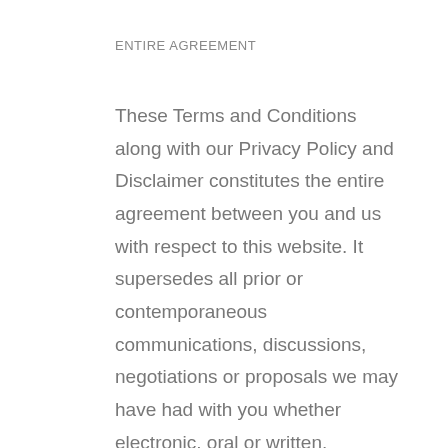ENTIRE AGREEMENT
These Terms and Conditions along with our Privacy Policy and Disclaimer constitutes the entire agreement between you and us with respect to this website. It supersedes all prior or contemporaneous communications, discussions, negotiations or proposals we may have had with you whether electronic, oral or written.